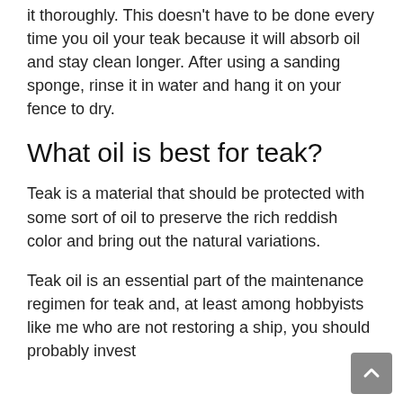Once the wood is sanded, you need to clean it thoroughly. This doesn't have to be done every time you oil your teak because it will absorb oil and stay clean longer. After using a sanding sponge, rinse it in water and hang it on your fence to dry.
What oil is best for teak?
Teak is a material that should be protected with some sort of oil to preserve the rich reddish color and bring out the natural variations.
Teak oil is an essential part of the maintenance regimen for teak and, at least among hobbyists like me who are not restoring a ship, you should probably invest in a good high quality oil. Many teak oil...